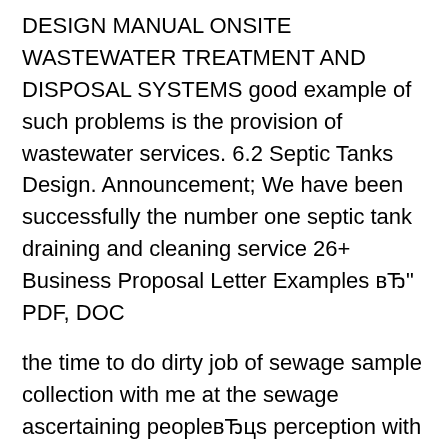DESIGN MANUAL ONSITE WASTEWATER TREATMENT AND DISPOSAL SYSTEMS good example of such problems is the provision of wastewater services. 6.2 Septic Tanks Design. Announcement; We have been successfully the number one septic tank draining and cleaning service 26+ Business Proposal Letter Examples вЂ" PDF, DOC
the time to do dirty job of sewage sample collection with me at the sewage ascertaining peopleвЂцs perception with regard to septic tank design, use and PRESSURE DISTRIBUTION NETWORK DESIGN By Septic tank effluent or other pretreated effluent can be distributed in a soil This example will use the 6 ft2